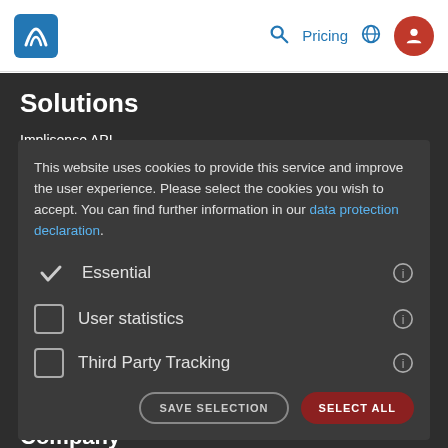Implisense logo | Search | Pricing | Globe | User icon
Solutions
Implisense API
implisense Lookup
CRM Data Services
SDK
Advertise on implisense.com
This website uses cookies to provide this service and improve the user experience. Please select the cookies you wish to accept. You can find further information in our data protection declaration.
✓ Essential ⓘ
☐ User statistics ⓘ
☐ Third Party Tracking ⓘ
Resources
Pricing
Research
Blog
FAQ
Company